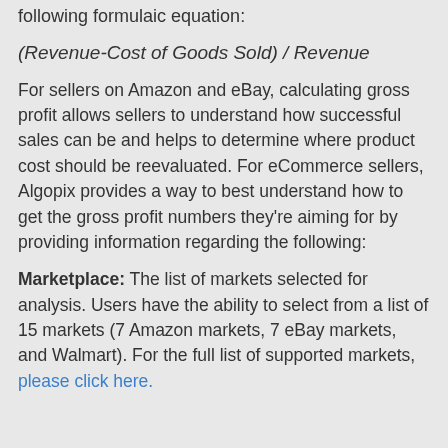following formulaic equation:
For sellers on Amazon and eBay, calculating gross profit allows sellers to understand how successful sales can be and helps to determine where product cost should be reevaluated. For eCommerce sellers, Algopix provides a way to best understand how to get the gross profit numbers they're aiming for by providing information regarding the following:
Marketplace: The list of markets selected for analysis. Users have the ability to select from a list of 15 markets (7 Amazon markets, 7 eBay markets, and Walmart). For the full list of supported markets, please click here.